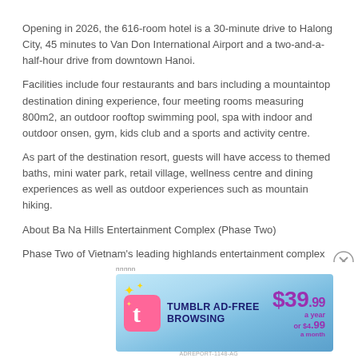Opening in 2026, the 616-room hotel is a 30-minute drive to Halong City, 45 minutes to Van Don International Airport and a two-and-a-half-hour drive from downtown Hanoi.
Facilities include four restaurants and bars including a mountaintop destination dining experience, four meeting rooms measuring 800m2, an outdoor rooftop swimming pool, spa with indoor and outdoor onsen, gym, kids club and a sports and activity centre.
As part of the destination resort, guests will have access to themed baths, mini water park, retail village, wellness centre and dining experiences as well as outdoor experiences such as mountain hiking.
About Ba Na Hills Entertainment Complex (Phase Two)
Phase Two of Vietnam's leading highlands entertainment complex expansion will be completed in 2026. It will include three IHG-
[Figure (advertisement): Tumblr Ad-Free Browsing advertisement banner showing $39.99 a year or $4.99 a month pricing with Tumblr logo]